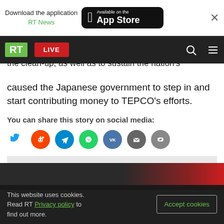Download the application RT News | Available on the App Store
RT LIVE
the clean-up, as well as to sustain the nation's
caused the Japanese government to step in and start contributing money to TEPCO's efforts.
You can share this story on social media:
[Figure (infographic): Social media sharing icons: Twitter, Reddit, Telegram, WhatsApp, VK, Email, Link]
Trends:  Fukushima disaster
[Figure (photo): Partial bottom image strip, dark background with red]
This website uses cookies. Read RT Privacy policy to find out more. Accept cookies